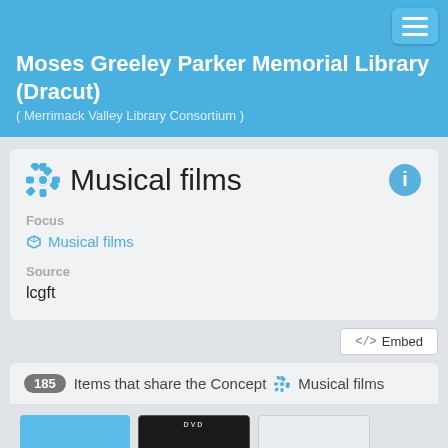Moses Greeley Parker Memorial Library (Dracut)
( Merrimack Valley Library Consortium )
Musical films
Focus
Musical films
Source
lcgft
</>  Embed
185 Items that share the Concept ⚙ Musical films